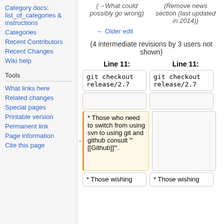Category docs: list_of_categories & instructions
Categories
Recent Contributors
Recent Changes
Wiki help
Tools
What links here
Related changes
Special pages
Printable version
Permanent link
Page information
Cite this page
(→What could possibly go wrong)
(Remove news section (last updated in 2014))
← Older edit
(4 intermediate revisions by 3 users not shown)
Line 11:
Line 11:
git checkout release/2.7
git checkout release/2.7
* Those who need to switch from using svn to using git and github consult '"[[Github]]"'.
* Those wishing
* Those wishing